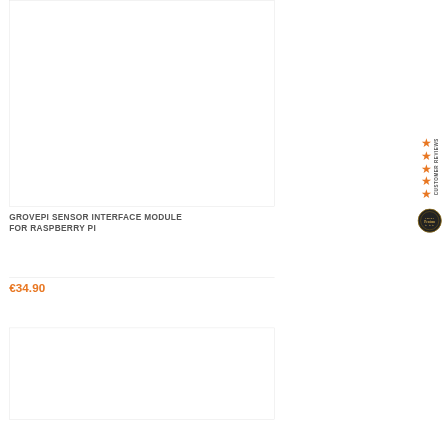[Figure (photo): Product image placeholder box (white rectangle with border) for GrovePi Sensor Interface Module]
GROVEPI SENSOR INTERFACE MODULE FOR RASPBERRY PI
€34.90
[Figure (photo): Second product image placeholder box (white rectangle with border)]
[Figure (infographic): Sidebar showing CUSTOMER REVIEWS label rotated vertically, 4 orange stars, and a circular badge/seal]